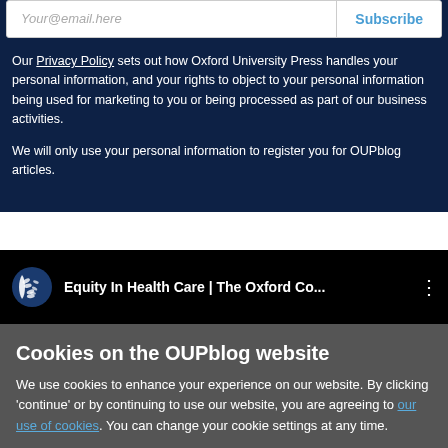Your@email.here
Subscribe
Our Privacy Policy sets out how Oxford University Press handles your personal information, and your rights to object to your personal information being used for marketing to you or being processed as part of our business activities.
We will only use your personal information to register you for OUPblog articles.
[Figure (screenshot): Video thumbnail showing Oxford logo and title 'Equity In Health Care | The Oxford Co...' with three-dot menu icon on black background]
Cookies on the OUPblog website
We use cookies to enhance your experience on our website. By clicking 'continue' or by continuing to use our website, you are agreeing to our use of cookies. You can change your cookie settings at any time.
Continue